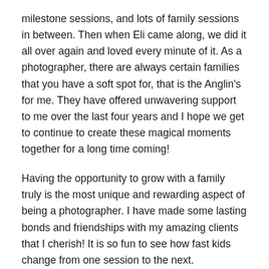milestone sessions, and lots of family sessions in between. Then when Eli came along, we did it all over again and loved every minute of it. As a photographer, there are always certain families that you have a soft spot for, that is the Anglin's for me. They have offered unwavering support to me over the last four years and I hope we get to continue to create these magical moments together for a long time coming!
Having the opportunity to grow with a family truly is the most unique and rewarding aspect of being a photographer. I have made some lasting bonds and friendships with my amazing clients that I cherish! It is so fun to see how fast kids change from one session to the next. Documenting their growing personalities through photos is so special. Xander and Eli never fail to melt my heart with their sweet smiles.